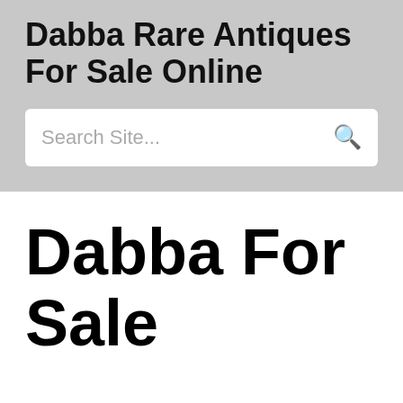Dabba Rare Antiques For Sale Online
Search Site...
Dabba For Sale